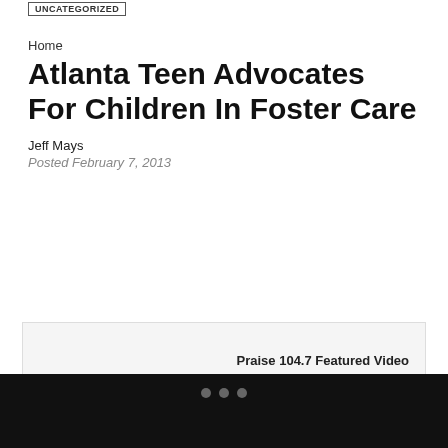UNCATEGORIZED
Home
Atlanta Teen Advocates For Children In Foster Care
Jeff Mays
Posted February 7, 2013
[Figure (other): Praise 104.7 Featured Video embedded video player area]
This Black History Month, we honor the GAME CHANGERS: Everyday heroes whose actions make life better for the people